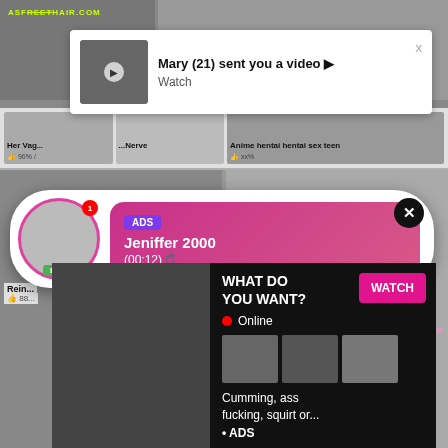[Figure (screenshot): Adult content website screenshot with multiple video thumbnails and advertising popups]
Mary (21) sent you a video ▶
Watch
Her Vag...
96% /
Anime hentai hentai sex teen
ADS
Jeniffer 2000
(00:12)🎵
LIVE
Rein...
88...
WHAT DO YOU WANT?
WATCH
Online
Cumming, ass fucking, squirt or...
• ADS